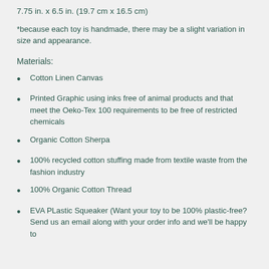7.75 in. x 6.5 in. (19.7 cm x 16.5 cm)
*because each toy is handmade, there may be a slight variation in size and appearance.
Materials:
Cotton Linen Canvas
Printed Graphic using inks free of animal products and that meet the Oeko-Tex 100 requirements to be free of restricted chemicals
Organic Cotton Sherpa
100% recycled cotton stuffing made from textile waste from the fashion industry
100% Organic Cotton Thread
EVA PLastic Squeaker (Want your toy to be 100% plastic-free? Send us an email along with your order info and we'll be happy to